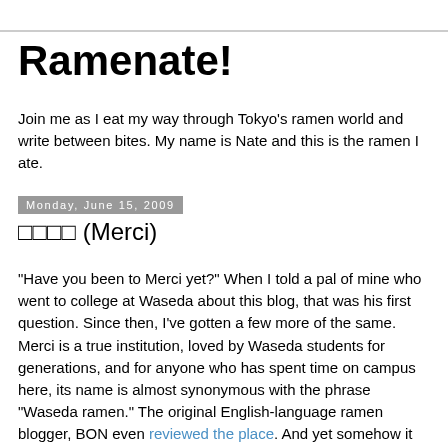Ramenate!
Join me as I eat my way through Tokyo's ramen world and write between bites. My name is Nate and this is the ramen I ate.
Monday, June 15, 2009
□□□□ (Merci)
"Have you been to Merci yet?" When I told a pal of mine who went to college at Waseda about this blog, that was his first question. Since then, I've gotten a few more of the same. Merci is a true institution, loved by Waseda students for generations, and for anyone who has spent time on campus here, its name is almost synonymous with the phrase "Waseda ramen." The original English-language ramen blogger, BON even reviewed the place. And yet somehow it took me 8 months to get around to eating here. Jesus, am I a poseur.